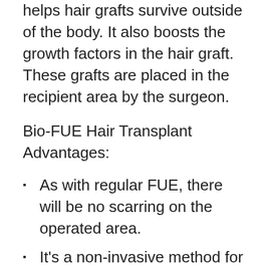helps hair grafts survive outside of the body. It also boosts the growth factors in the hair graft. These grafts are placed in the recipient area by the surgeon.
Bio-FUE Hair Transplant Advantages:
As with regular FUE, there will be no scarring on the operated area.
It's a non-invasive method for increasing hair density.
The patient should experience total hair growth in six to twelve months.